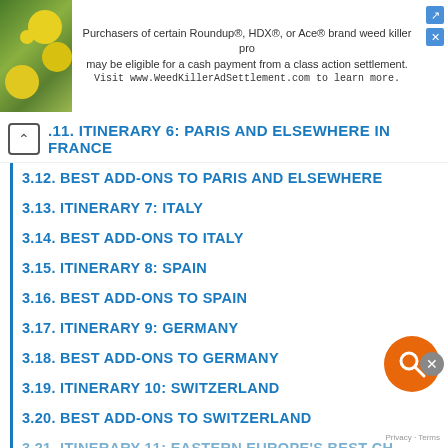[Figure (screenshot): Ad banner with plant photo. Text: Purchasers of certain Roundup®, HDX®, or Ace® brand weed killer products may be eligible for a cash payment from a class action settlement. Visit www.WeedKillerAdSettlement.com to learn more.]
3.11. ITINERARY 6: PARIS AND ELSEWHERE IN FRANCE
3.12. BEST ADD-ONS TO PARIS AND ELSEWHERE
3.13. ITINERARY 7: ITALY
3.14. BEST ADD-ONS TO ITALY
3.15. ITINERARY 8: SPAIN
3.16. BEST ADD-ONS TO SPAIN
3.17. ITINERARY 9: GERMANY
3.18. BEST ADD-ONS TO GERMANY
3.19. ITINERARY 10: SWITZERLAND
3.20. BEST ADD-ONS TO SWITZERLAND
3.21. ITINERARY 11: EASTERN EUROPE'S BEST CHEAP CITIES
3.22. BEST ADD-ONS TO CHEAP EASTERN EUROPE
4. ALL COMMENTS